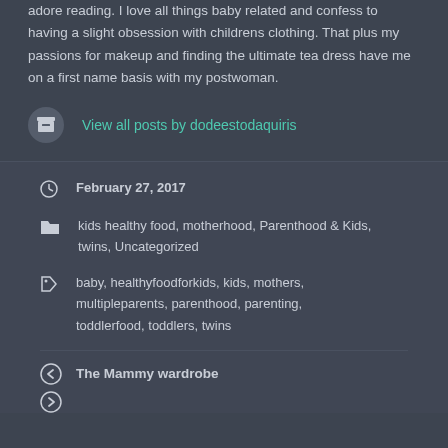adore reading. I love all things baby related and confess to having a slight obsession with childrens clothing. That plus my passions for makeup and finding the ultimate tea dress have me on a first name basis with my postwoman.
View all posts by dodeestodaquiris
February 27, 2017
kids healthy food, motherhood, Parenthood & Kids, twins, Uncategorized
baby, healthyfoodforkids, kids, mothers, multipleparents, parenthood, parenting, toddlerfood, toddlers, twins
The Mammy wardrobe